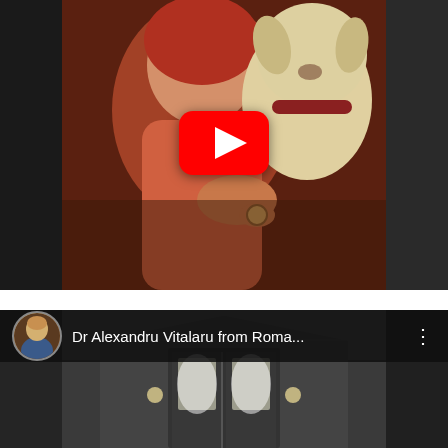[Figure (photo): YouTube video thumbnail showing a woman with red hair smiling and hugging a light-colored dog. Dark blurred side panels flank a center image. A large YouTube play button (red rounded rectangle with white triangle) is centered over the image.]
[Figure (screenshot): YouTube video card showing a dark top bar with a circular avatar photo of a person, the title 'Dr Alexandru Vitalaru from Roma...' in white text, a vertical three-dot menu icon on the right, and a dark video thumbnail below showing a building entrance with glass doors.]